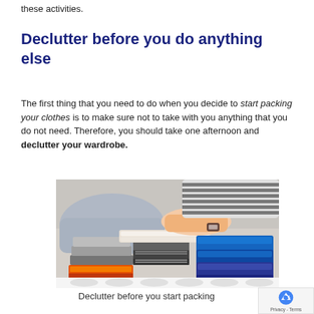these activities.
Declutter before you do anything else
The first thing that you need to do when you decide to start packing your clothes is to make sure not to take with you anything that you do not need. Therefore, you should take one afternoon and declutter your wardrobe.
[Figure (photo): A person sorting and folding stacks of clothes including jeans, striped shirts, grey trousers, and orange clothing on a patterned surface.]
Declutter before you start packing